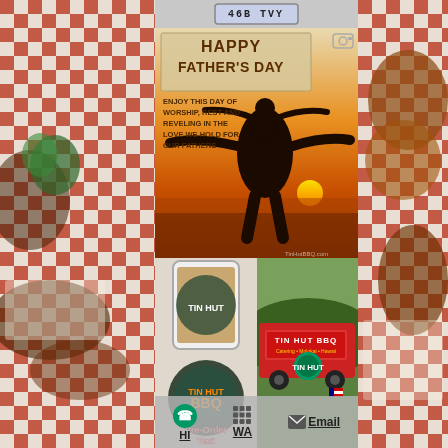[Figure (photo): Red and white checkered background with BBQ food on left side]
[Figure (photo): License plate reading 46B TVY at top center]
[Figure (photo): Happy Father's Day card with silhouette of father and child at sunset, text reading HAPPY FATHER'S DAY and ENJOY THIS DAY OF WORSHIP, REST AND REVELING IN THE LOVE WE HOLD FOR OUR FATHERS]
[Figure (photo): Tin Hut BBQ phone mockup with Pre-Order Text on lower left grid cell]
[Figure (photo): Tin Hut BBQ red trailer truck with TIN HUT BBQ sign on right grid cell]
HI
WA
Email